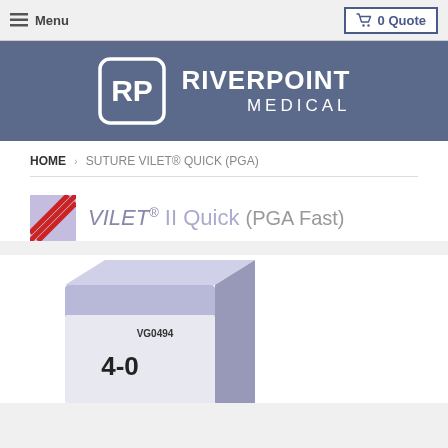☰ Menu    🛒 0 Quote
[Figure (logo): Riverpoint Medical logo with RP icon in rounded square and text RIVERPOINT MEDICAL on blue/slate background]
HOME › SUTURE VILET® QUICK (PGA)
VILET® II Quick (PGA Fast)
[Figure (photo): Product box for VILET II Quick suture, light purple/lavender colored box with label showing VG0494 and 4-0 size, partially cropped at bottom of image]